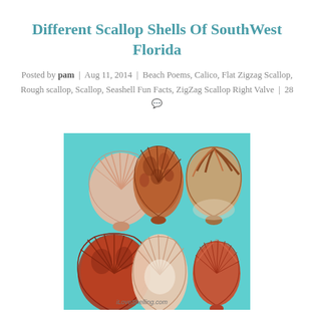Different Scallop Shells Of SouthWest Florida
Posted by pam | Aug 11, 2014 | Beach Poems, Calico, Flat Zigzag Scallop, Rough scallop, Scallop, Seashell Fun Facts, ZigZag Scallop Right Valve | 28 💬
[Figure (photo): Six different scallop shells arranged in two rows of three on a teal/aqua background. The shells vary in color from light pink to deep reddish-brown with various patterns. Bottom right shows iLoveShelling.com watermark.]